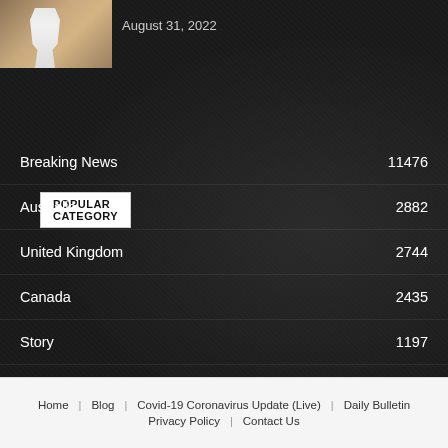[Figure (photo): Sports photo showing a player in white uniform on an orange/brown background]
August 31, 2022
POPULAR CATEGORY
Breaking News  11476
Australia  2882
United Kingdom  2744
Canada  2435
Story  1197
South Africa  1097
Hollywood & Entertainment  1091
Home  Blog  Covid-19 Coronavirus Update (Live)  Daily Bulletin  Privacy Policy  Contact Us